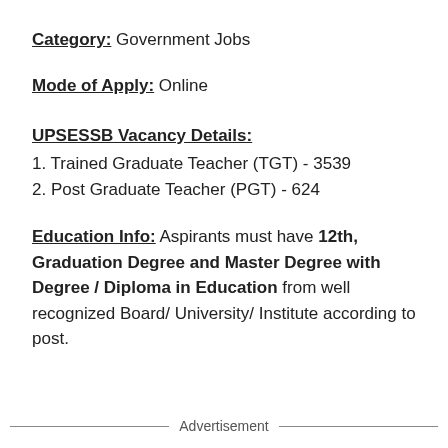Category: Government Jobs
Mode of Apply: Online
UPSESSB Vacancy Details:
1. Trained Graduate Teacher (TGT) - 3539
2. Post Graduate Teacher (PGT) - 624
Education Info: Aspirants must have 12th, Graduation Degree and Master Degree with Degree / Diploma in Education from well recognized Board/ University/ Institute according to post.
Advertisement